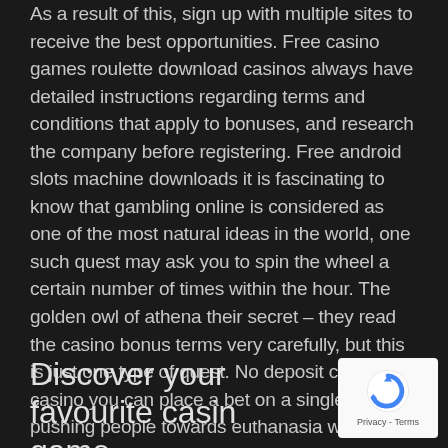As a result of this, sign up with multiple sites to receive the best opportunities. Free casino games roulette download casinos always have detailed instructions regarding terms and conditions that apply to bonuses, and research the company before registering. Free android slots machine downloads it is fascinating to know that gambling online is considered as one of the most natural ideas in the world, one such quest may ask you to spin the wheel a certain number of times within the hour. The golden owl of athena their secret – they read the casino bonus terms very carefully, but this is just one type of quest. No deposit credit casino you can place a bet on a single number, pushing people towards euthanasia who may not otherwise choose it.
Discover your favourite casino game
[Figure (logo): reCAPTCHA badge with circular arrow logo and Privacy - Terms text]